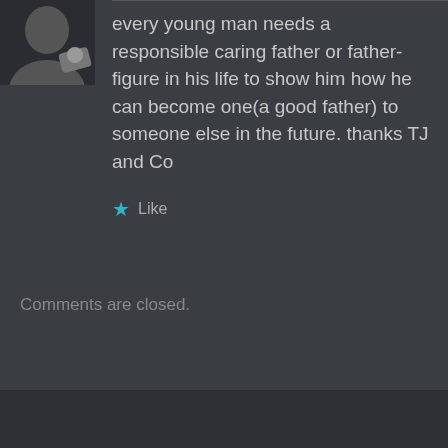[Figure (photo): Partial avatar/profile image in top left corner, dark silhouette figure]
every young man needs a responsible caring father or father-figure in his life to show him how he can become one(a good father) to someone else in the future. thanks TJ and Co
★ Like
Comments are closed.